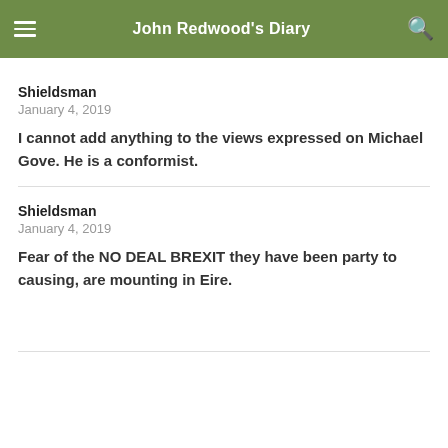John Redwood's Diary
Shieldsman
January 4, 2019
I cannot add anything to the views expressed on Michael Gove. He is a conformist.
Shieldsman
January 4, 2019
Fear of the NO DEAL BREXIT they have been party to causing, are mounting in Eire.